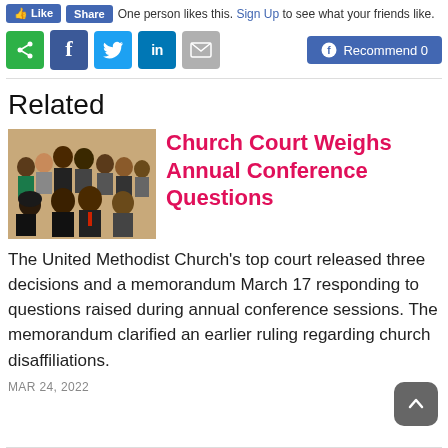[Figure (screenshot): Social media sharing bar with Like and Share buttons, 'One person likes this. Sign Up to see what your friends like.' text]
[Figure (screenshot): Social sharing icons: share (green), Facebook (blue), Twitter (blue), LinkedIn (blue), email (gray), and a Facebook Recommend 0 button]
Related
[Figure (photo): Group photo of approximately 9 people, mix of men and women, formal attire, posed for a group portrait]
Church Court Weighs Annual Conference Questions
The United Methodist Church's top court released three decisions and a memorandum March 17 responding to questions raised during annual conference sessions. The memorandum clarified an earlier ruling regarding church disaffiliations.
MAR 24, 2022